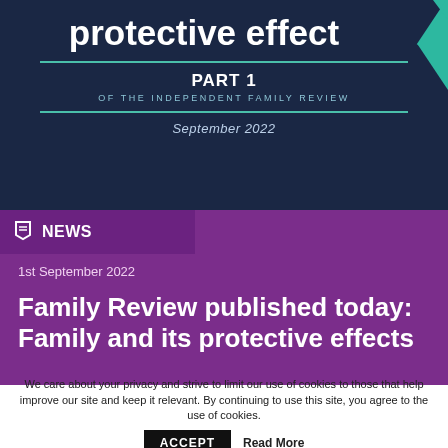protective effect
PART 1
OF THE INDEPENDENT FAMILY REVIEW
September 2022
NEWS
1st September 2022
Family Review published today: Family and its protective effects
We care about your privacy and strive to limit our use of cookies to those that help improve our site and keep it relevant. By continuing to use this site, you agree to the use of cookies.